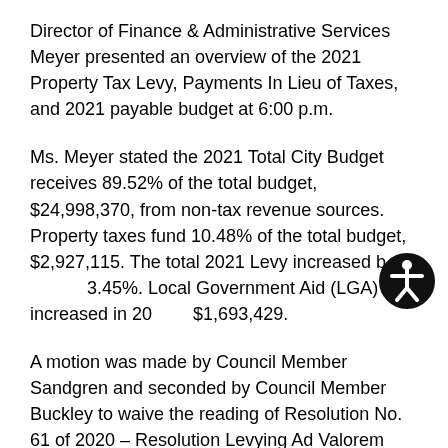Director of Finance & Administrative Services Meyer presented an overview of the 2021 Property Tax Levy, Payments In Lieu of Taxes, and 2021 payable budget at 6:00 p.m.
Ms. Meyer stated the 2021 Total City Budget receives 89.52% of the total budget, $24,998,370, from non-tax revenue sources. Property taxes fund 10.48% of the total budget, $2,927,115. The total 2021 Levy increased by 3.45%. Local Government Aid (LGA) increased in 2021 to $1,693,429.
A motion was made by Council Member Sandgren and seconded by Council Member Buckley to waive the reading of Resolution No. 61 of 2020 – Resolution Levying Ad Valorem Taxes for the Year 2021. Motion passed by unanimous vote.
A motion was made by Council Member Smith and